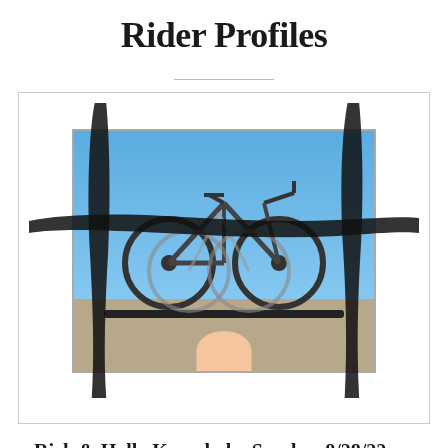Rider Profiles
[Figure (photo): Photo of bicycles mounted on a car roof rack against a blue sky, with a person visible below, overlaid with bold black brush-stroke cross marks forming a decorative frame element]
Rich & Holly Krumholz- Sunday, 8/28/22